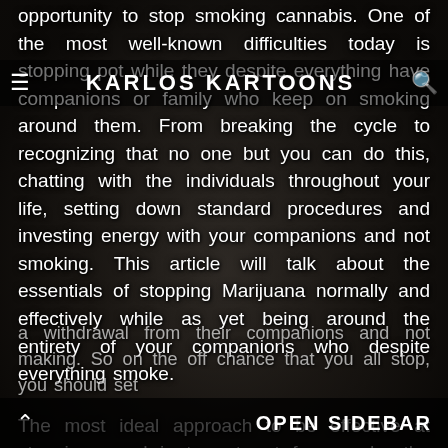KARLOS KARTOONS
opportunity to stop smoking cannabis. One of the most well-known difficulties today is stopping pot while they despite everything have companions or family who keep on smoking around them. From breaking the cycle to recognizing that no one but you can do this, chatting with the individuals throughout your life, setting down standard procedures and investing energy with your companions and not smoking. This article will talk about the essentials of stopping Marijuana normally and effectively while as yet being around the entirety of your companions who despite everything smoke.
The most ideal approach to be effective at stopping weed is to get out from under the propensities for taking breaks to smoke with companions. The best cbd oil for dogs test with this is individuals experience a withdrawal from their companions and not making. So on the off chance that you all stop, you should set
OPEN SIDEBAR